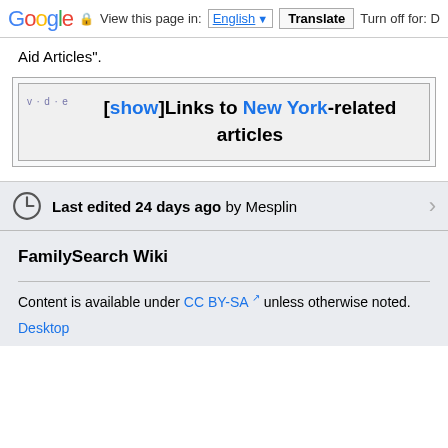Google  View this page in: English [▼]  Translate  Turn off for: D
Aid Articles".
| v·d·e | [show]Links to New York-related articles |
Last edited 24 days ago by Mesplin
FamilySearch Wiki
Content is available under CC BY-SA unless otherwise noted.
Desktop